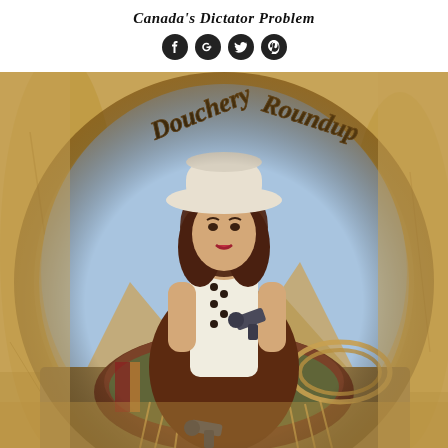Canada's Dictator Problem
[Figure (illustration): Vintage cowgirl illustration titled 'Douchery Roundup' — a woman in a white cowboy hat and sleeveless white top with dark accents, holding a revolver in each hand, seated on a saddle with rope, mountains and sky in background, set within a circular vignette on aged tan/brown parchment-textured background with decorative rope-style text arching around the top.]